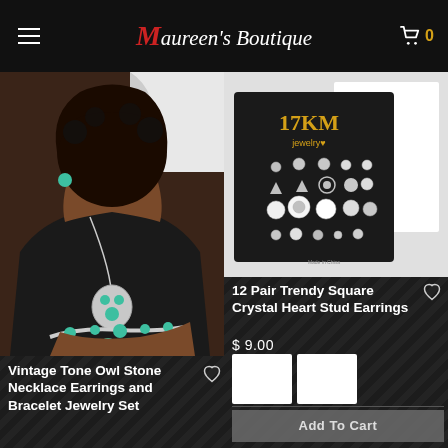Maureen's Boutique
[Figure (photo): Woman wearing turquoise stone owl necklace, ring, and bracelet jewelry set, black top]
Vintage Tone Owl Stone Necklace Earrings and Bracelet Jewelry Set
[Figure (photo): 17KM Jewelry 12 pair square crystal heart stud earrings set on black card]
12 Pair Trendy Square Crystal Heart Stud Earrings
$ 9.00
Add To Cart